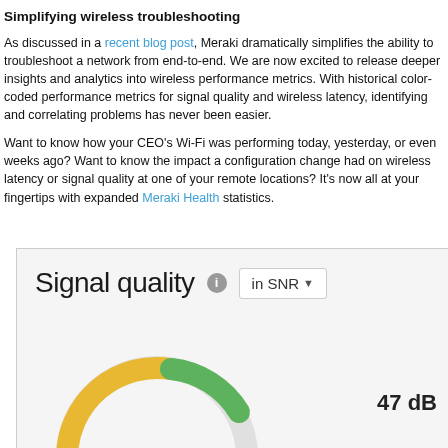Simplifying wireless troubleshooting
As discussed in a recent blog post, Meraki dramatically simplifies the ability to troubleshoot a network from end-to-end. We are now excited to release deeper insights and analytics into wireless performance metrics. With historical color-coded performance metrics for signal quality and wireless latency, identifying and correlating problems has never been easier.
Want to know how your CEO’s Wi-Fi was performing today, yesterday, or even weeks ago? Want to know the impact a configuration change had on wireless latency or signal quality at one of your remote locations? It’s now all at your fingertips with expanded Meraki Health statistics.
[Figure (screenshot): Screenshot of Meraki dashboard showing Signal quality gauge with 'in SNR' dropdown and a donut/gauge chart showing 47 dB, with colored arc (yellow-orange and green segments)]